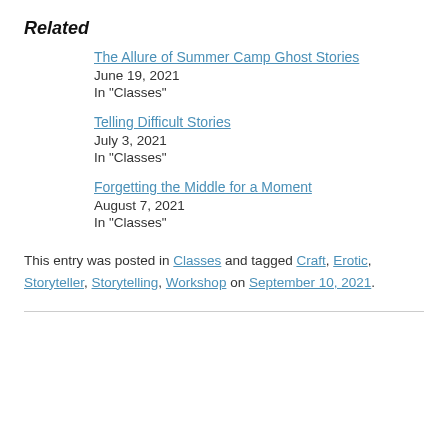Related
The Allure of Summer Camp Ghost Stories
June 19, 2021
In "Classes"
Telling Difficult Stories
July 3, 2021
In "Classes"
Forgetting the Middle for a Moment
August 7, 2021
In "Classes"
This entry was posted in Classes and tagged Craft, Erotic, Storyteller, Storytelling, Workshop on September 10, 2021.